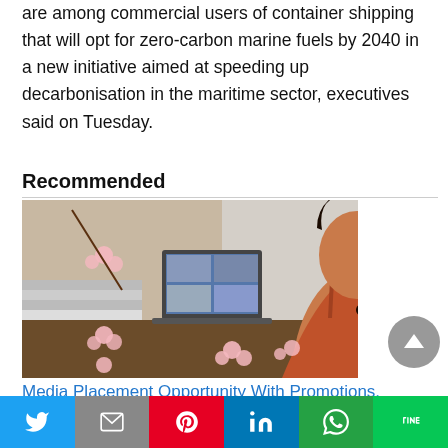are among commercial users of container shipping that will opt for zero-carbon marine fuels by 2040 in a new initiative aimed at speeding up decarbonisation in the maritime sector, executives said on Tuesday.
Recommended
[Figure (photo): A smiling woman with long dark hair, wearing a red sleeveless top, sitting at a desk with a laptop, looking over her shoulder. The image has a floral branch decoration overlay.]
Media Placement Opportunity With Promotions.